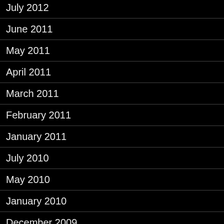July 2012
June 2011
May 2011
April 2011
March 2011
February 2011
January 2011
July 2010
May 2010
January 2010
December 2009
November 2009
August 2009